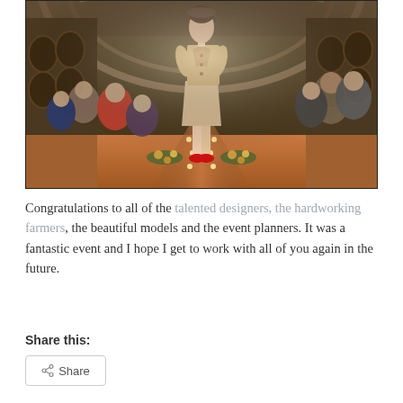[Figure (photo): A fashion show runway photo taken inside a rustic barn or winery venue. A model wearing a beige/tan suit jacket and skirt with red shoes walks the runway. Audience members are seated on both sides of the floral-decorated runway under arched wooden ceilings.]
Congratulations to all of the talented designers, the hardworking farmers, the beautiful models and the event planners. It was a fantastic event and I hope I get to work with all of you again in the future.
Share this: